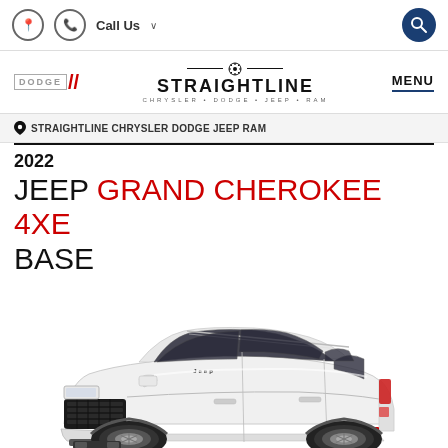Call Us | Search
[Figure (logo): Dodge logo with diagonal red slash, Straightline Chrysler Dodge Jeep Ram center logo with gear icon, MENU button]
STRAIGHTLINE CHRYSLER DODGE JEEP RAM
2022 JEEP GRAND CHEROKEE 4XE BASE
[Figure (photo): 2022 Jeep Grand Cherokee 4XE in white, 3/4 front view]